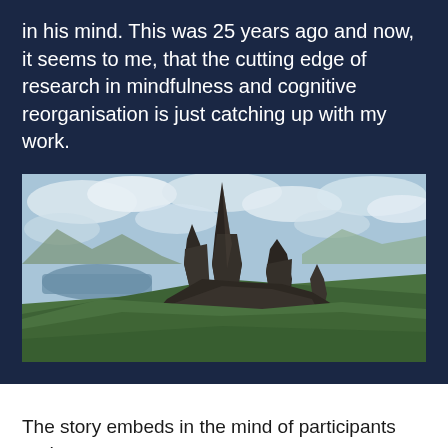in his mind. This was 25 years ago and now, it seems to me, that the cutting edge of research in mindfulness and cognitive reorganisation is just catching up with my work.
[Figure (photo): Dramatic rocky pinnacles (Old Man of Storr, Isle of Skye) rising from green hillside, with a loch and mountains visible in the background under a partly cloudy sky.]
The story embeds in the mind of participants and